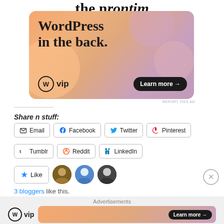[Figure (illustration): WordPress VIP advertisement banner with gradient orange/pink/purple background showing text 'WordPress in the back.' with WP VIP logo and 'Learn more →' button]
REPORT THIS AD
Share n stuff:
Email
Facebook
Twitter
Pinterest
Tumblr
Reddit
LinkedIn
Like
3 bloggers like this.
Advertisements
[Figure (illustration): WordPress VIP advertisement with gradient orange/pink background and 'Learn more →' button]